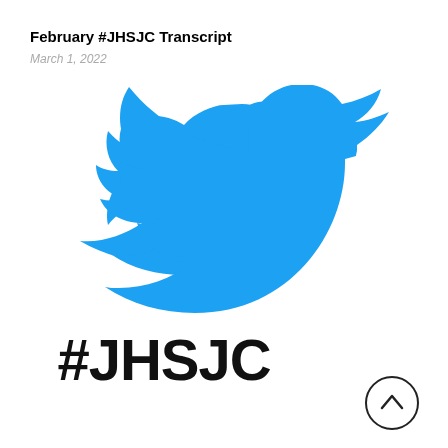February #JHSJC Transcript
March 1, 2022
[Figure (logo): Twitter bird logo in blue (#1DA1F2) with the hashtag text #JHSJC below it in large bold black sans-serif font. A circular arrow-up button appears at the bottom right.]